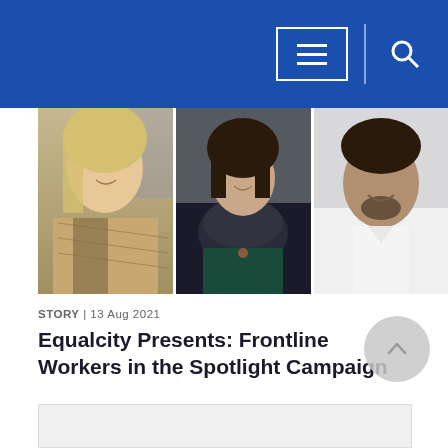Navigation header with menu and search icons
[Figure (photo): Three frontline workers side by side: an older blonde woman in a patterned top, a woman with dark hair and a dark floral scarf wearing a teal outfit, and a young man with curly hair and beard in a white shirt]
STORY | 13 Aug 2021
Equalcity Presents: Frontline Workers in the Spotlight Campaign